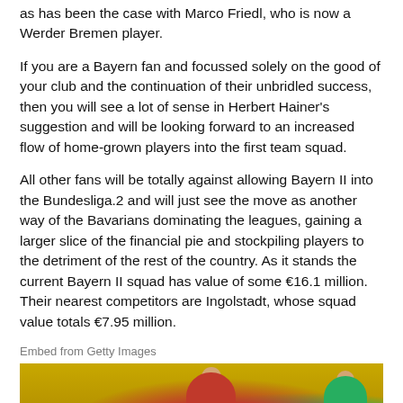as has been the case with Marco Friedl, who is now a Werder Bremen player.
If you are a Bayern fan and focussed solely on the good of your club and the continuation of their unbridled success, then you will see a lot of sense in Herbert Hainer's suggestion and will be looking forward to an increased flow of home-grown players into the first team squad.
All other fans will be totally against allowing Bayern II into the Bundesliga.2 and will just see the move as another way of the Bavarians dominating the leagues, gaining a larger slice of the financial pie and stockpiling players to the detriment of the rest of the country. As it stands the current Bayern II squad has value of some €16.1 million. Their nearest competitors are Ingolstadt, whose squad value totals €7.95 million.
Embed from Getty Images
[Figure (photo): A photo of two football players on a pitch, one in red kit and one in green goalkeeper kit, with yellow stadium seating in the background.]